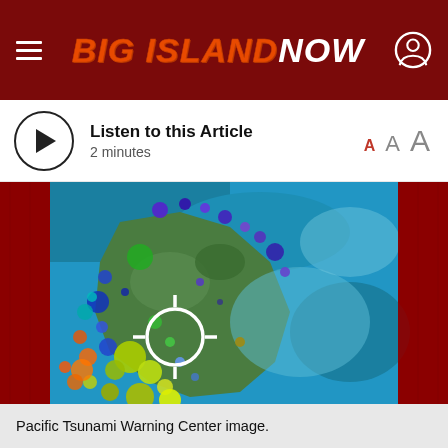BIG ISLAND NOW
Listen to this Article
2 minutes
[Figure (map): Pacific Tsunami Warning Center seismic map showing the Big Island of Hawaii with colored earthquake markers (circles in blue, purple, yellow, green, orange) overlaid on a satellite image. A crosshair target symbol is visible in the lower-left portion of the island. Red borders frame the left and right sides of the image.]
Pacific Tsunami Warning Center image.